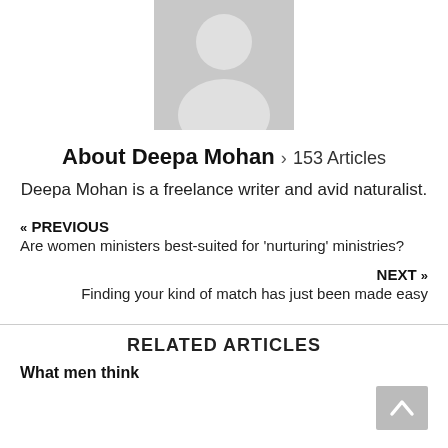[Figure (illustration): Gray placeholder avatar/profile silhouette image centered at top of page]
About Deepa Mohan > 153 Articles
Deepa Mohan is a freelance writer and avid naturalist.
« PREVIOUS
Are women ministers best-suited for 'nurturing' ministries?
NEXT »
Finding your kind of match has just been made easy
RELATED ARTICLES
What men think